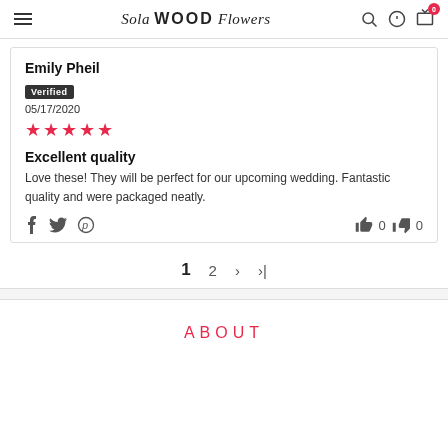Sola WOOD Flowers — navigation header with hamburger menu, logo, search, help, and cart icons
Emily Pheil
Verified
05/17/2020
[Figure (other): Five red/pink stars rating]
Excellent quality
Love these! They will be perfect for our upcoming wedding. Fantastic quality and were packaged neatly.
f  (twitter bird)  (pinterest) | thumbs up 0  thumbs down 0
1  2  >  >|
ABOUT